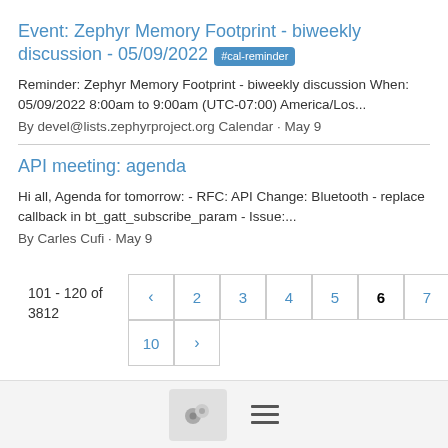Event: Zephyr Memory Footprint - biweekly discussion - 05/09/2022 #cal-reminder
Reminder: Zephyr Memory Footprint - biweekly discussion When: 05/09/2022 8:00am to 9:00am (UTC-07:00) America/Los...
By devel@lists.zephyrproject.org Calendar · May 9
API meeting: agenda
Hi all, Agenda for tomorrow: - RFC: API Change: Bluetooth - replace callback in bt_gatt_subscribe_param - Issue:...
By Carles Cufi · May 9
101 - 120 of 3812